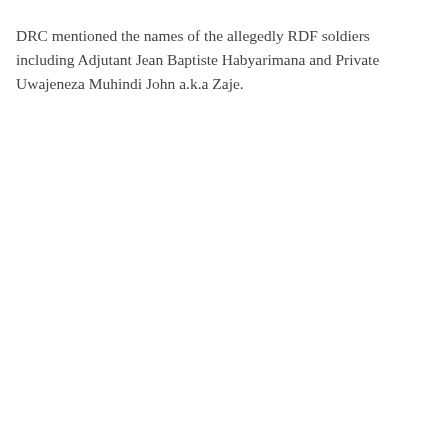DRC mentioned the names of the allegedly RDF soldiers including Adjutant Jean Baptiste Habyarimana and Private Uwajeneza Muhindi John a.k.a Zaje.